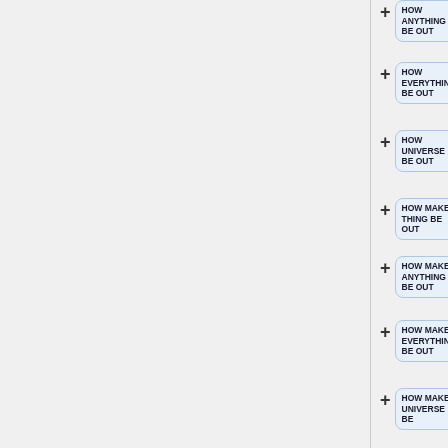HOW ANYTHING BE OUT
HOW EVERYTHING BE OUT
HOW UNIVERSE BE OUT
HOW MAKE THING BE OUT
HOW MAKE ANYTHING BE OUT
HOW MAKE EVERYTHING BE OUT
HOW MAKE UNIVERSE BE